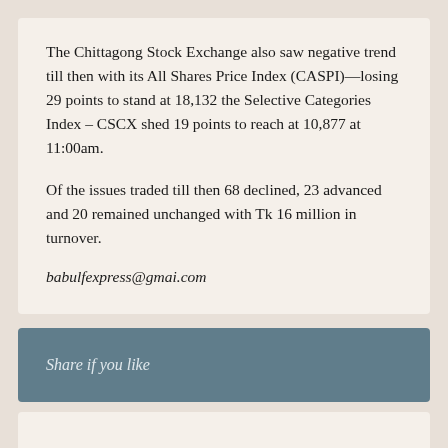The Chittagong Stock Exchange also saw negative trend till then with its All Shares Price Index (CASPI)—losing 29 points to stand at 18,132 the Selective Categories Index – CSCX shed 19 points to reach at 10,877 at 11:00am.
Of the issues traded till then 68 declined, 23 advanced and 20 remained unchanged with Tk 16 million in turnover.
babulfexpress@gmai.com
Share if you like